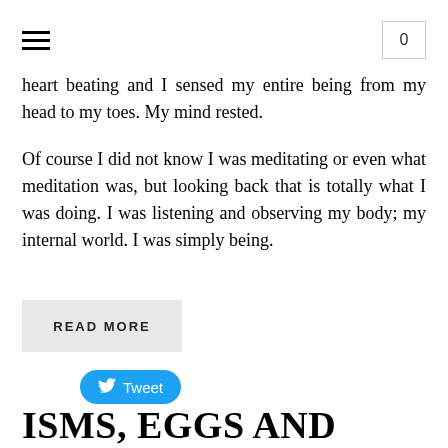≡  0
heart beating and I sensed my entire being from my head to my toes. My mind rested.
Of course I did not know I was meditating or even what meditation was, but looking back that is totally what I was doing. I was listening and observing my body; my internal world. I was simply being.
READ MORE
Tweet
ISMS, EGGS AND BEAUTIFUL